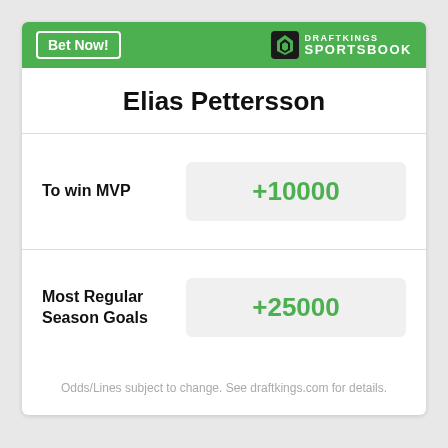Bet Now! | DRAFTKINGS SPORTSBOOK
Elias Pettersson
To win MVP
+10000
Most Regular Season Goals
+25000
Odds/Lines subject to change. See draftkings.com for details.